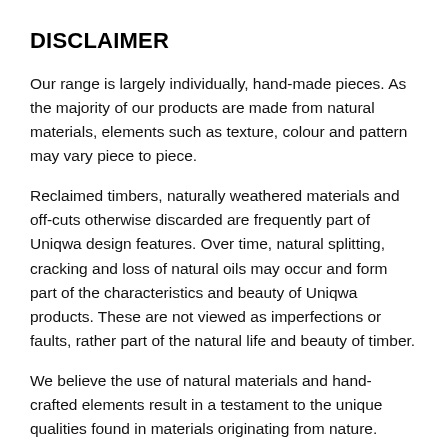DISCLAIMER
Our range is largely individually, hand-made pieces. As the majority of our products are made from natural materials, elements such as texture, colour and pattern may vary piece to piece.
Reclaimed timbers, naturally weathered materials and off-cuts otherwise discarded are frequently part of Uniqwa design features. Over time, natural splitting, cracking and loss of natural oils may occur and form part of the characteristics and beauty of Uniqwa products. These are not viewed as imperfections or faults, rather part of the natural life and beauty of timber.
We believe the use of natural materials and hand-crafted elements result in a testament to the unique qualities found in materials originating from nature.
As every monitor displays different color tones, the color of